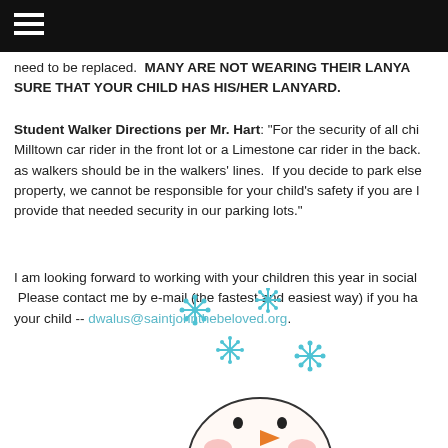Navigation menu header bar
need to be replaced.  MANY ARE NOT WEARING THEIR LANYARD. PLEASE MAKE SURE THAT YOUR CHILD HAS HIS/HER LANYARD.
Student Walker Directions per Mr. Hart: "For the security of all children, if you are a Milltown car rider in the front lot or a Limestone car rider in the back, children who are designated as walkers should be in the walkers' lines.  If you decide to park elsewhere off of school property, we cannot be responsible for your child's safety if you are leaving the lot. We can only provide that needed security in our parking lots."
I am looking forward to working with your children this year in social studies and science.  Please contact me by e-mail (the fastest and easiest way) if you have any questions about your child -- dwalus@saintjohnthebeloved.org.
[Figure (illustration): Snowman illustration with teal/blue snowflakes around it, showing the top portion of a snowman face with an orange carrot nose and rosy cheeks]